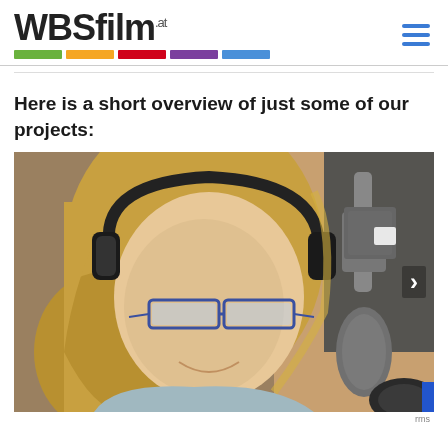[Figure (logo): WBSfilm.at logo with colorful bars beneath (green, yellow, red, purple, blue)]
Here is a short overview of just some of our projects:
[Figure (photo): A woman with blonde hair wearing headphones and glasses, smiling, in front of studio microphones. A carousel right arrow is visible on the right side.]